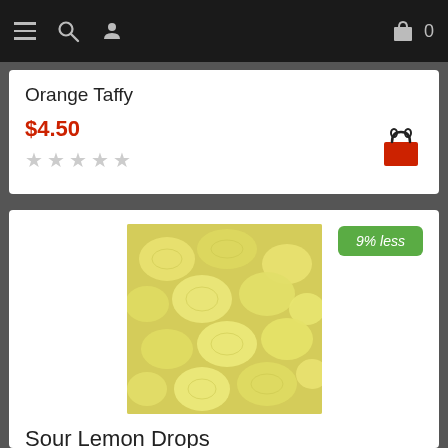Navigation bar with menu, search, user, bag, and cart count 0
Orange Taffy
$4.50
[Figure (other): Red shopping bag icon]
[Figure (photo): Pile of yellow sour lemon drop candies]
9% less
Sour Lemon Drops